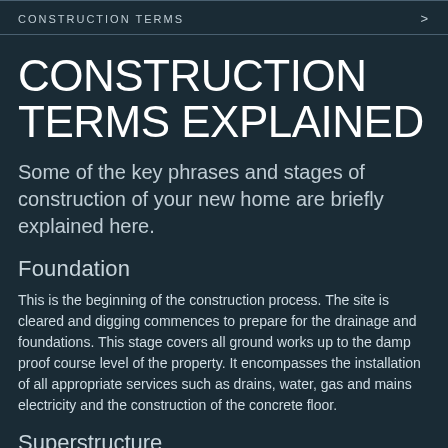CONSTRUCTION TERMS >
CONSTRUCTION TERMS EXPLAINED
Some of the key phrases and stages of construction of your new home are briefly explained here.
Foundation
This is the beginning of the construction process. The site is cleared and digging commences to prepare for the drainage and foundations. This stage covers all ground works up to the damp proof course level of the property. It encompasses the installation of all appropriate services such as drains, water, gas and mains electricity and the construction of the concrete floor.
Superstructure